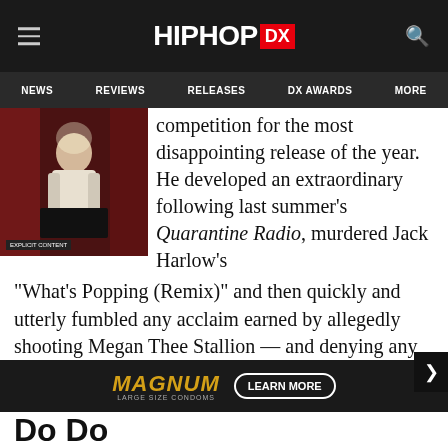HIPHOP DX
NEWS  REVIEWS  RELEASES  DX AWARDS  MORE
[Figure (photo): Album cover photo showing a person in a dimly lit red-toned scene]
competition for the most disappointing release of the year. He developed an extraordinary following last summer's Quarantine Radio, murdered Jack Harlow's "What's Popping (Remix)" and then quickly and utterly fumbled any acclaim earned by allegedly shooting Megan Thee Stallion — and denying any involvement. On the post-shooting release DAYSTAR, the Canadian rapper makes excuse after excuse for the incident while backed by unimaginably boring melodramatic beats. A grueling hour and some change listen, the effort resulted in Tory's lowest-performing album to date. Good job?
[Figure (photo): MAGNUM LEARN MORE advertisement banner at bottom of page]